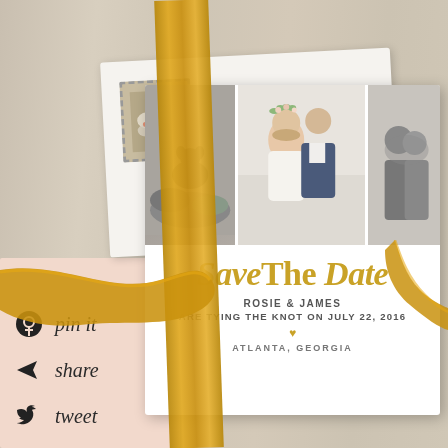[Figure (photo): Wedding save-the-date card with three photos (dog on rocks, couple in color, couple in black and white), tied with a gold satin ribbon, resting on a wooden surface. A vintage stamp is visible in the top left corner. Bottom left has a peach box with Pinterest, share, and Twitter social media icons with handwritten labels.]
SaveThe Date
ROSIE & JAMES
ARE TYING THE KNOT ON JULY 22, 2016
♥
ATLANTA, GEORGIA
pin it
share
tweet